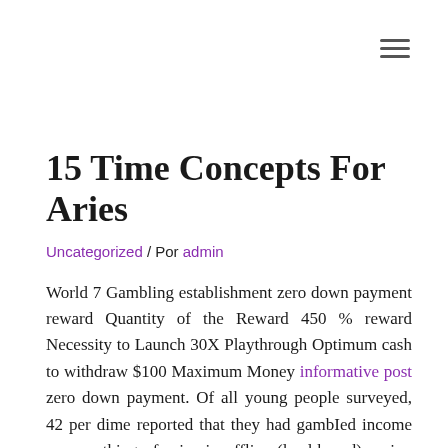≡
15 Time Concepts For Aries
Uncategorized / Por admin
World 7 Gambling establishment zero down payment reward Quantity of the Reward 450 % reward Necessity to Launch 30X Playthrough Optimum cash to withdraw $100 Maximum Money informative post zero down payment. Of all young people surveyed, 42 per dime reported that they had gambled income or something of price in offline (land-based) casino or online casino Popular casino activities included: a dare or concern (22 per dime), instant-win or damage entry pass (14 per dime), game titles of expertise, many of these as